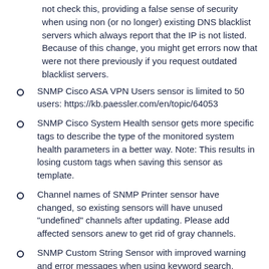not check this, providing a false sense of security when using non (or no longer) existing DNS blacklist servers which always report that the IP is not listed. Because of this change, you might get errors now that were not there previously if you request outdated blacklist servers.
SNMP Cisco ASA VPN Users sensor is limited to 50 users: https://kb.paessler.com/en/topic/64053
SNMP Cisco System Health sensor gets more specific tags to describe the type of the monitored system health parameters in a better way. Note: This results in losing custom tags when saving this sensor as template.
Channel names of SNMP Printer sensor have changed, so existing sensors will have unused "undefined" channels after updating. Please add affected sensors anew to get rid of gray channels.
SNMP Custom String Sensor with improved warning and error messages when using keyword search.